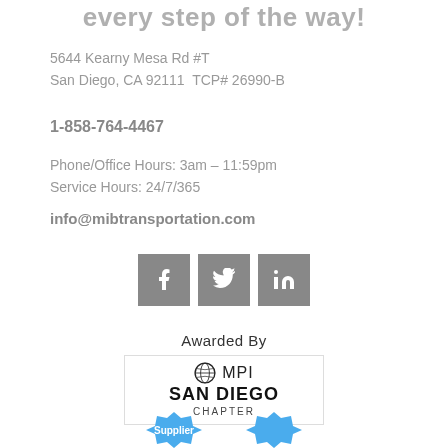every step of the way!
5644 Kearny Mesa Rd #T
San Diego, CA 92111  TCP# 26990-B
1-858-764-4467
Phone/Office Hours: 3am – 11:59pm
Service Hours: 24/7/365
info@mibtransportation.com
[Figure (infographic): Three grey square social media icons: Facebook (f), Twitter (bird), LinkedIn (in)]
Awarded By
[Figure (logo): MPI San Diego Chapter logo with globe icon, bold SAN DIEGO text and CHAPTER below]
[Figure (logo): Two blue badge/seal icons partially visible at bottom, labeled Supplier]